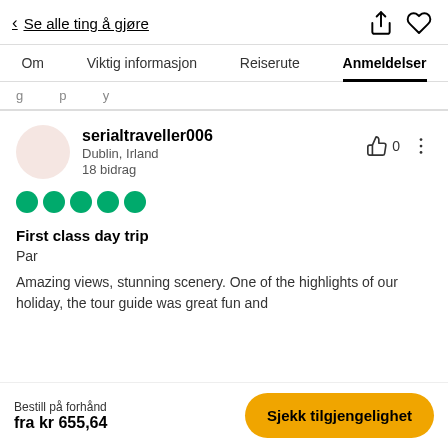< Se alle ting å gjøre
Om  Viktig informasjon  Reiserute  Anmeldelser
g ... p ... y
serialtraveller006
Dublin, Irland
18 bidrag
First class day trip
Par
Amazing views, stunning scenery. One of the highlights of our holiday, the tour guide was great fun and
Bestill på forhånd
fra kr 655,64
Sjekk tilgjengelighet